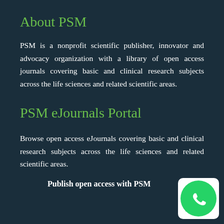About PSM
PSM is a nonprofit scientific publisher, innovator and advocacy organization with a library of open access journals covering basic and clinical research subjects across the life sciences and related scientific areas.
PSM eJournals Portal
Browse open access eJournals covering basic and clinical research subjects across the life sciences and related scientific areas.
Publish open access with PSM
[Figure (logo): WhatsApp logo icon — white circle with phone handset on green background, displayed in bottom right corner]